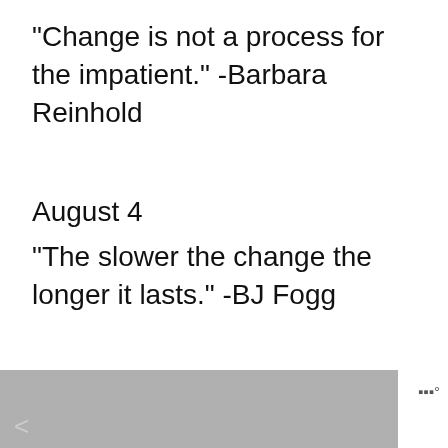"Change is not a process for the impatient." -Barbara Reinhold
August 4
"The slower the change the longer it lasts." -BJ Fogg
[Figure (screenshot): Social media UI overlay with heart/like button showing 3.1K likes, share button, up-arrow button, what's next bar with avatar, partial text of next quote about calm and undisturbed mind, search button, hexagonal pattern at bottom, weather icon]
August 5
...calm and undisturbed mind a... the life and health of th... body..." - Proverb